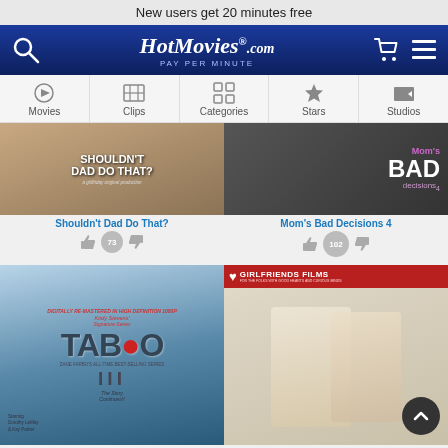New users get 20 minutes free
[Figure (screenshot): HotMovies.com Pay Per Minute navigation bar with search icon, logo, cart and menu icons]
[Figure (infographic): Navigation menu tabs: Movies, Clips, Categories, Stars, Studios]
[Figure (photo): Movie cover: Shouldn't Dad Do That?]
Shouldn't Dad Do That?
73
[Figure (photo): Movie cover: Mom's Bad Decisions 4]
Mom's Bad Decisions 4
102
[Figure (photo): Movie cover: Taboo III - Digitally Remastered in High Definition 1080p, Kirdy Stevens' Signature Series, starring Dorothy LeMay & Kay Parker]
[Figure (photo): Movie cover: Girlfriends Films - For the Folks with Good Hearts and Curious Minds, featuring two blonde women]